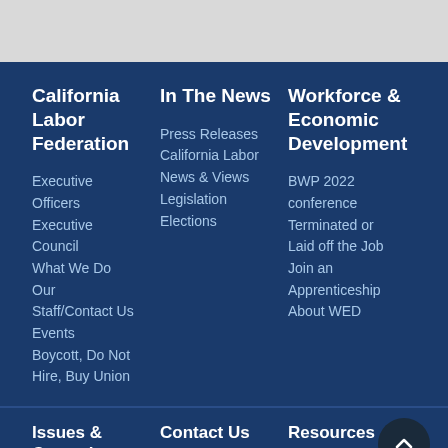California Labor Federation
Executive Officers
Executive Council
What We Do
Our Staff/Contact Us
Events
Boycott, Do Not Hire, Buy Union
In The News
Press Releases
California Labor News & Views
Legislation
Elections
Workforce & Economic Development
BWP 2022 conference
Terminated or Laid off the Job
Join an Apprenticeship
About WED
Issues & Campaigns
Contact Us
Central Labor
Resources
Payments